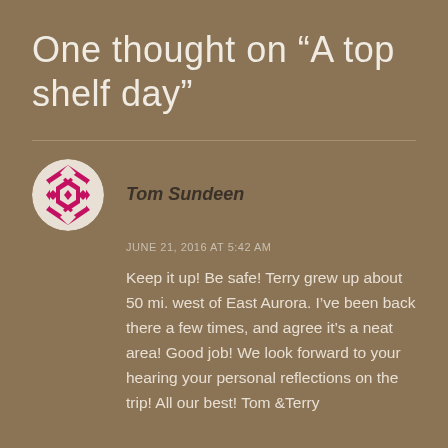One thought on “A top shelf day”
Tom Sundeen
JUNE 21, 2016 AT 5:42 AM
Keep it up! Be safe! Terry grew up about 50 mi. west of East Aurora. I’ve been back there a few times, and agree it’s a neat area! Good job! We look forward to your hearing your personal reflections on the trip! All our best! Tom &Terry